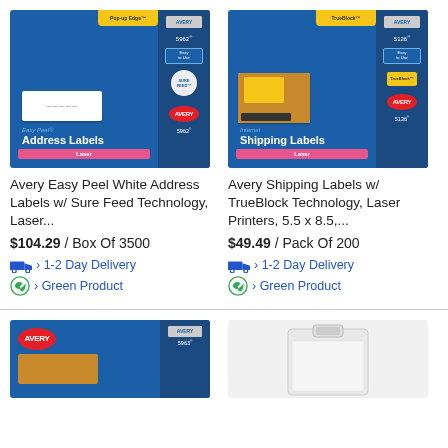[Figure (photo): Avery Easy Peel White Address Labels box (model 5962), blue packaging with label samples, Sure Feed Technology badge]
[Figure (photo): Avery Shipping Labels with TrueBlock Technology box (model 5126), blue packaging with brown package photo, TrueBlock badge]
Avery Easy Peel White Address Labels w/ Sure Feed Technology, Laser...
Avery Shipping Labels w/ TrueBlock Technology, Laser Printers, 5.5 x 8.5,...
$104.29 / Box Of 3500
$49.49 / Pack Of 200
› 1-2 Day Delivery
› 1-2 Day Delivery
› Green Product
› Green Product
[Figure (photo): Avery product box (model 5963), blue packaging, partial view at bottom of page]
[Figure (photo): Clear plastic badge holder, partial view at bottom of page]